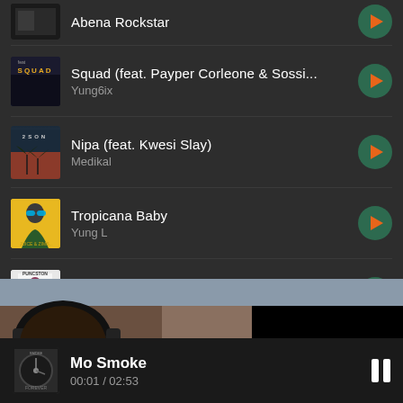Abena Rockstar
Squad (feat. Payper Corleone & Sossi... — Yung6ix
Nipa (feat. Kwesi Slay) — Medikal
Tropicana Baby — Yung L
Dede (feat. Novo) — Teephlow
[Figure (screenshot): Photo section showing person with headphones with blurred/bokeh background]
Mo Smoke
00:01 / 02:53